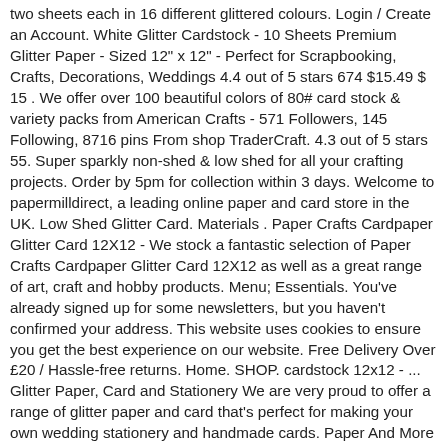two sheets each in 16 different glittered colours. Login / Create an Account. White Glitter Cardstock - 10 Sheets Premium Glitter Paper - Sized 12" x 12" - Perfect for Scrapbooking, Crafts, Decorations, Weddings 4.4 out of 5 stars 674 $15.49 $ 15 . We offer over 100 beautiful colors of 80# card stock & variety packs from American Crafts - 571 Followers, 145 Following, 8716 pins From shop TraderCraft. 4.3 out of 5 stars 55. Super sparkly non-shed & low shed for all your crafting projects. Order by 5pm for collection within 3 days. Welcome to papermilldirect, a leading online paper and card store in the UK. Low Shed Glitter Card. Materials . Paper Crafts Cardpaper Glitter Card 12X12 - We stock a fantastic selection of Paper Crafts Cardpaper Glitter Card 12X12 as well as a great range of art, craft and hobby products. Menu; Essentials. You've already signed up for some newsletters, but you haven't confirmed your address. This website uses cookies to ensure you get the best experience on our website. Free Delivery Over £20 / Hassle-free returns. Home. SHOP. cardstock 12x12 - ... Glitter Paper, Card and Stationery We are very proud to offer a range of glitter paper and card that's perfect for making your own wedding stationery and handmade cards. Paper And More has low prices on all Glitter Paper and Glitter Cardstock! 5 out of 5 stars (46) 46 reviews $ 1.70 Bestseller Favorite Add to COUGAR Opaque WHITE 100 lb. On Sale for $ 12.56. Search. Amazon's Choice for glitter